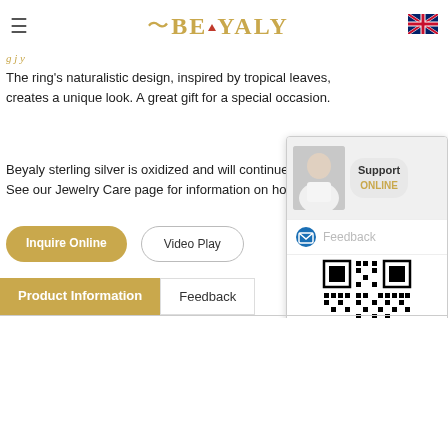BEYALY
The ring's naturalistic design, inspired by tropical leaves, creates a unique look. A great gift for a special occasion.
Beyaly sterling silver is oxidized and will continue to dark... See our Jewelry Care page for information on how to ca...
[Figure (screenshot): Support ONLINE widget with customer service representative photo, Feedback option with mail icon, QR code, close button, and Chat Online button]
Inquire Online
Video Play
Product Information
Feedback